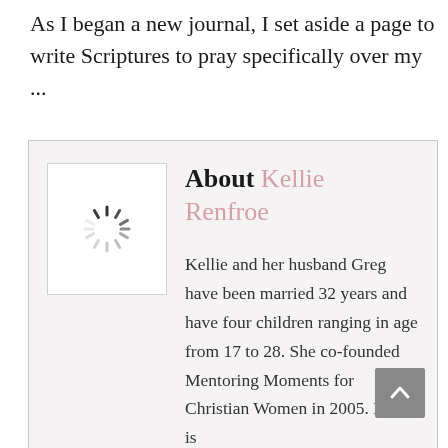As I began a new journal, I set aside a page to write Scriptures to pray specifically over my ...
[Figure (other): Author bio card with loading spinner placeholder image, 'About Kellie Renfroe' heading, and bio text about Kellie and her husband Greg married 32 years with four children ranging in age from 17 to 28, co-founded Mentoring Moments for Christian Women in 2005.]
Kellie and her husband Greg have been married 32 years and have four children ranging in age from 17 to 28. She co-founded Mentoring Moments for Christian Women in 2005. Kellie is